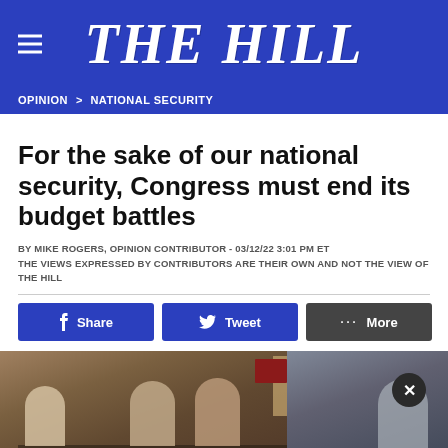THE HILL
OPINION > NATIONAL SECURITY
For the sake of our national security, Congress must end its budget battles
BY MIKE ROGERS, OPINION CONTRIBUTOR - 03/12/22 3:01 PM ET
THE VIEWS EXPRESSED BY CONTRIBUTORS ARE THEIR OWN AND NOT THE VIEW OF THE HILL
[Figure (screenshot): Social sharing buttons: Facebook Share, Twitter Tweet, and More options]
[Figure (photo): Photo of people seated at a conference table in a formal meeting room, with a close button overlay in the upper right]